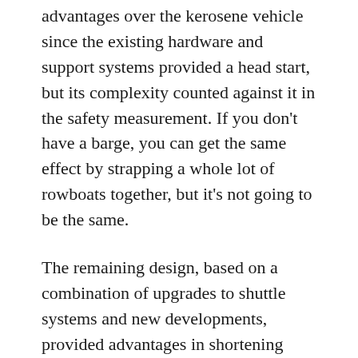advantages over the kerosene vehicle since the existing hardware and support systems provided a head start, but its complexity counted against it in the safety measurement. If you don't have a barge, you can get the same effect by strapping a whole lot of rowboats together, but it's not going to be the same.
The remaining design, based on a combination of upgrades to shuttle systems and new developments, provided advantages in shortening development time and reducing costs, and offering safety advantages through the use of proven propulsion systems.
Step Six: Pick the Best Design.